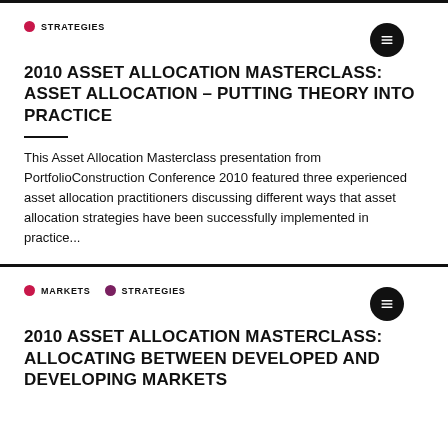STRATEGIES
2010 ASSET ALLOCATION MASTERCLASS: ASSET ALLOCATION – PUTTING THEORY INTO PRACTICE
This Asset Allocation Masterclass presentation from PortfolioConstruction Conference 2010 featured three experienced asset allocation practitioners discussing different ways that asset allocation strategies have been successfully implemented in practice...
MARKETS  STRATEGIES
2010 ASSET ALLOCATION MASTERCLASS: ALLOCATING BETWEEN DEVELOPED AND DEVELOPING MARKETS